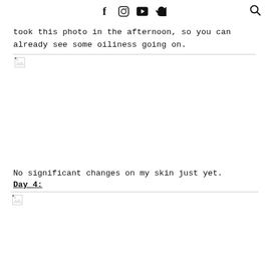Social media icons: f (Facebook), Instagram, YouTube, Twitter, Search
took this photo in the afternoon, so you can already see some oiliness going on.
[Figure (photo): Broken image placeholder (photo of skin, Day 3 afternoon)]
No significant changes on my skin just yet.
Day 4:
[Figure (photo): Broken image placeholder (photo of skin, Day 4)]